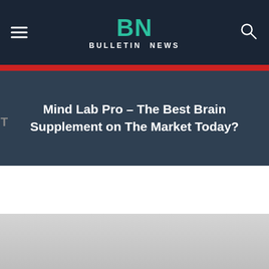BN BULLETIN NEWS
Mind Lab Pro – The Best Brain Supplement on The Market Today?
[Figure (photo): Partially visible article hero image with light gray background at bottom of page]